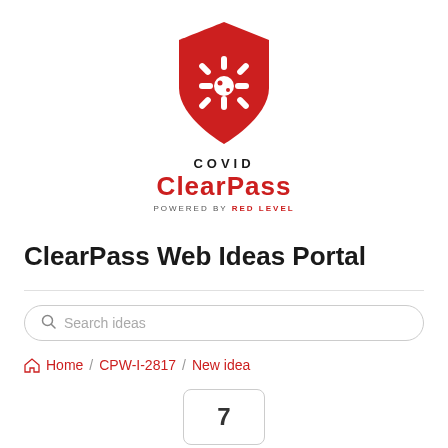[Figure (logo): COVID ClearPass logo: red shield with virus/gear icon, text 'COVID ClearPass POWERED BY RED LEVEL']
ClearPass Web Ideas Portal
Search ideas (search box)
Home / CPW-I-2817 / New idea
7 (vote box)